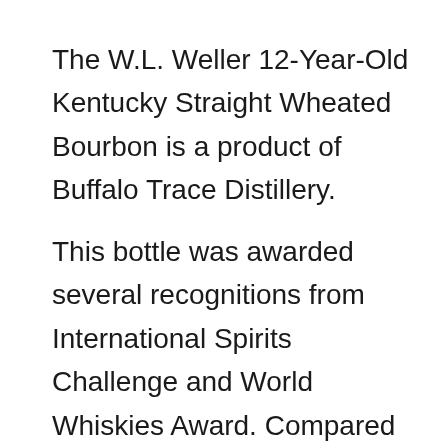The W.L. Weller 12-Year-Old Kentucky Straight Wheated Bourbon is a product of Buffalo Trace Distillery.
This bottle was awarded several recognitions from International Spirits Challenge and World Whiskies Award. Compared to other wheated bourbons, it is aged longer to produce a distinct flavor profile.